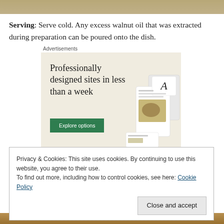[Figure (photo): Top partial image of a food dish, brown/tan tones]
Serving: Serve cold. Any excess walnut oil that was extracted during preparation can be poured onto the dish.
Advertisements
[Figure (screenshot): Advertisement banner with beige background. Text reads 'Professionally designed sites in less than a week' with a green 'Explore options' button and mockup screenshots of websites.]
Privacy & Cookies: This site uses cookies. By continuing to use this website, you agree to their use.
To find out more, including how to control cookies, see here: Cookie Policy
[Figure (photo): Bottom partial image of a food dish]